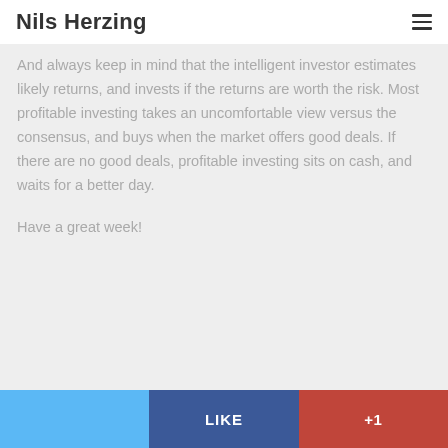Nils Herzing
And always keep in mind that the intelligent investor estimates likely returns, and invests if the returns are worth the risk.  Most profitable investing takes an uncomfortable view versus the consensus, and buys when the market offers good deals.  If there are no good deals, profitable investing sits on cash, and waits for a better day.
Have a great week!